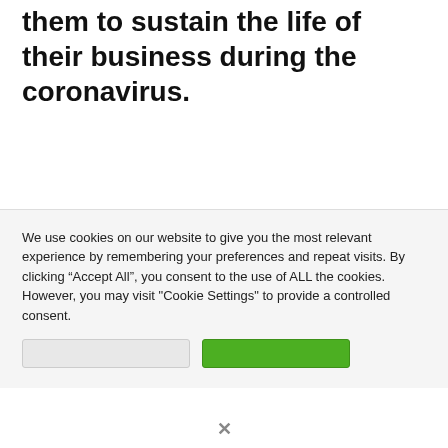them to sustain the life of their business during the coronavirus.
We use cookies on our website to give you the most relevant experience by remembering your preferences and repeat visits. By clicking “Accept All”, you consent to the use of ALL the cookies. However, you may visit "Cookie Settings" to provide a controlled consent.